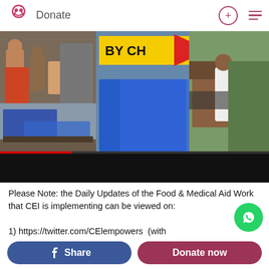Donate
[Figure (photo): Collage of humanitarian aid photos showing people receiving food and medical aid, blue tarpaulins/shelters, and a man working on a damaged roof. Yellow banner overlay reading 'BY CH... MORE THAN 7 VILLAGES'. Black video progress bar at bottom.]
Please Note: the Daily Updates of the Food & Medical Aid Work that CEI is implementing can be viewed on:
1) https://twitter.com/CElempowers  (with #CEI_CovidResponse)